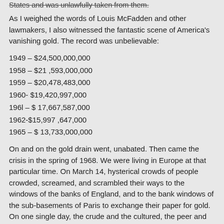States and was unlawfully taken from them.
As I weighed the words of Louis McFadden and other lawmakers, I also witnessed the fantastic scene of America's vanishing gold. The record was unbelievable:
1949 – $24,500,000,000
1958 – $21,593,000,000
1959 – $20,478,483,000
1960- $19,420,997,000
1961 – $ 17,667,587,000
1962-$15,997,647,000
1965 – $ 13,733,000,000
On and on the gold drain went, unabated. Then came the crisis in the spring of 1968. We were living in Europe at that particular time. On March 14, hysterical crowds of people crowded, screamed, and scrambled their ways to the windows of the banks of England, and to the bank windows of the sub-basements of Paris to exchange their paper for gold. On one single day, the crude and the cultured, the peer and the peasant, carried off 200 tons of the precious metal. They stored it in secret places of their homes and deposited it in various banks in strongboxes labeled